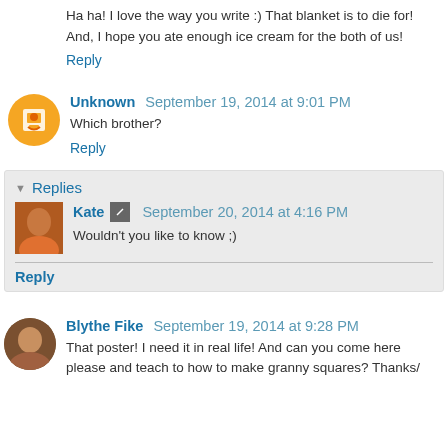Ha ha! I love the way you write :) That blanket is to die for! And, I hope you ate enough ice cream for the both of us!
Reply
Unknown  September 19, 2014 at 9:01 PM
Which brother?
Reply
Replies
Kate  September 20, 2014 at 4:16 PM
Wouldn't you like to know ;)
Reply
Blythe Fike  September 19, 2014 at 9:28 PM
That poster! I need it in real life! And can you come here please and teach to how to make granny squares? Thanks/